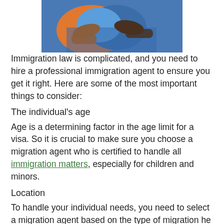[Figure (photo): Photo of hands over a globe/map, suggesting immigration or world travel context]
Immigration law is complicated, and you need to hire a professional immigration agent to ensure you get it right. Here are some of the most important things to consider:
The individual's age
Age is a determining factor in the age limit for a visa. So it is crucial to make sure you choose a migration agent who is certified to handle all immigration matters, especially for children and minors.
Location
To handle your individual needs, you need to select a migration agent based on the type of migration he handles. Let's face it: Hiring an agent based on his location may cost